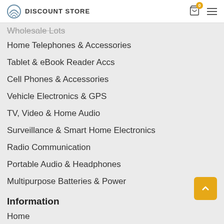DISCOUNT STORE
Wholesale Lots
Home Telephones & Accessories
Tablet & eBook Reader Accs
Cell Phones & Accessories
Vehicle Electronics & GPS
TV, Video & Home Audio
Surveillance & Smart Home Electronics
Radio Communication
Portable Audio & Headphones
Multipurpose Batteries & Power
Information
Home